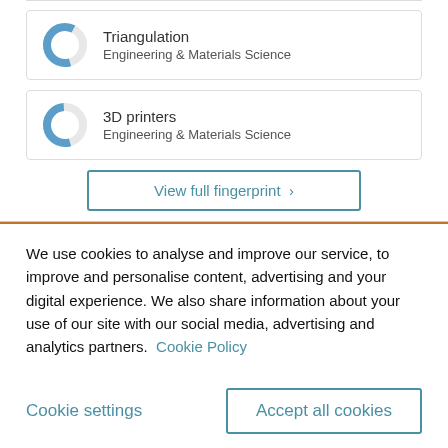[Figure (donut-chart): Donut chart icon for Triangulation topic]
Triangulation
Engineering & Materials Science
[Figure (donut-chart): Donut chart icon for 3D printers topic]
3D printers
Engineering & Materials Science
View full fingerprint ›
We use cookies to analyse and improve our service, to improve and personalise content, advertising and your digital experience. We also share information about your use of our site with our social media, advertising and analytics partners. Cookie Policy
Cookie settings
Accept all cookies